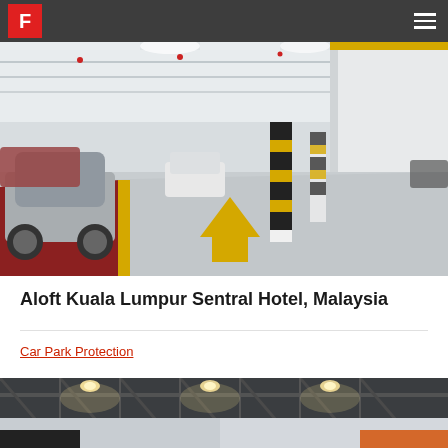F
[Figure (photo): Interior of a covered car park showing parked cars, grey epoxy floor with yellow directional arrow and red painted parking bays, black and yellow chevron hazard posts on white columns, fluorescent lighting on ceiling.]
Aloft Kuala Lumpur Sentral Hotel, Malaysia
Car Park Protection
[Figure (photo): Interior of an industrial or commercial building showing steel roof trusses with recessed LED lighting, partial view of walls and yellow painted features at bottom.]